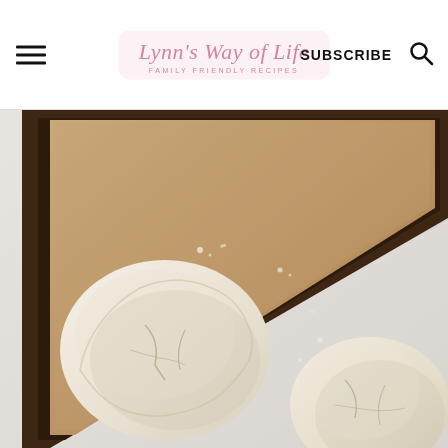Lynn's Way of Life — FAMILY FRIENDLY RECIPES — SUBSCRIBE
[Figure (photo): Overhead view of two round mounds of raw dough on parchment paper on a dark baking sheet, set on a marble surface. The dough appears floury and roughly shaped with visible cracks and crumbles.]